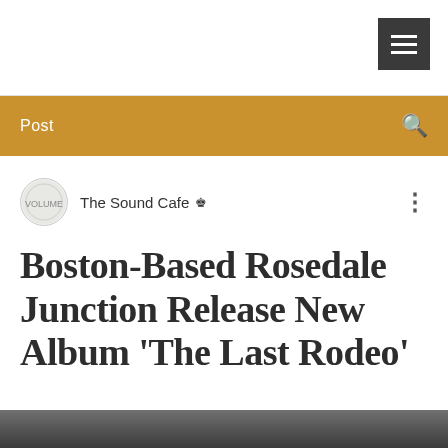[Figure (screenshot): Hamburger menu icon (three horizontal white lines) in a dark gray square button in the top-right corner of a white header bar]
Post
The Sound Cafe [crown icon]
Boston-Based Rosedale Junction Release New Album 'The Last Rodeo'
[Figure (photo): Dark/gray image strip visible at bottom of page, partially cut off]